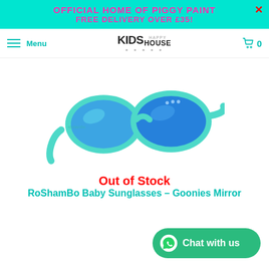OFFICIAL HOME OF PIGGY PAINT
FREE DELIVERY OVER £35!
[Figure (screenshot): Navigation bar with hamburger menu, Kids Happy House logo, and shopping cart icon showing 0 items]
[Figure (photo): RoShamBo Baby Sunglasses in teal/mint color with blue mirror lenses, angled view]
Out of Stock
RoShamBo Baby Sunglasses – Goonies Mirror
[Figure (other): WhatsApp Chat with us button]